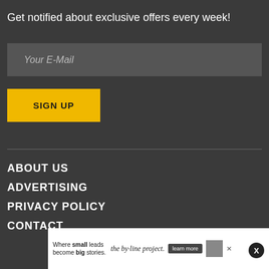Get notified about exclusive offers every week!
[Figure (other): Email input field with placeholder text 'Your E-Mail']
[Figure (other): Yellow 'SIGN UP' button]
ABOUT US
ADVERTISING
PRIVACY POLICY
CONTACT
[Figure (other): Advertisement banner: 'Where small leads become big stories. the by-line project. learn more']